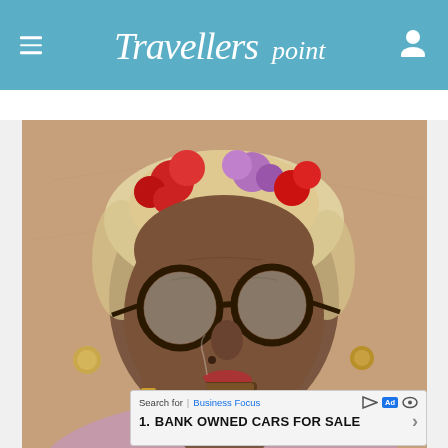Travellerspoint
[Figure (photo): Close-up portrait of an elderly woman with round dark-rimmed glasses, red and purple flowers in her white hair, wearing jewelry, smoking a cigar. Background is a sandy/terracotta-colored wall.]
Search for | Business Focus  Ad
1. BANK OWNED CARS FOR SALE